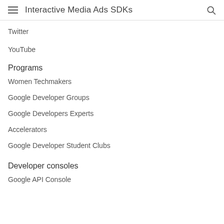Interactive Media Ads SDKs
Twitter
YouTube
Programs
Women Techmakers
Google Developer Groups
Google Developers Experts
Accelerators
Google Developer Student Clubs
Developer consoles
Google API Console